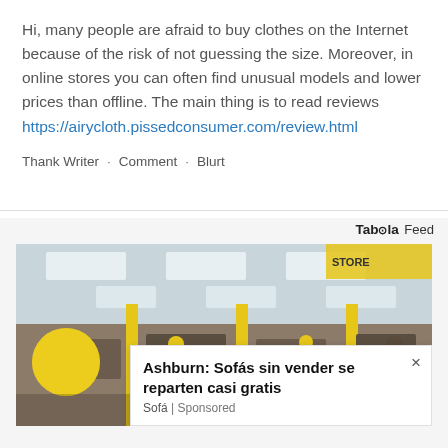Hi, many people are afraid to buy clothes on the Internet because of the risk of not guessing the size. Moreover, in online stores you can often find unusual models and lower prices than offline. The main thing is to read reviews https://airycloth.pissedconsumer.com/review.html
Thank Writer · Comment · Blurt
[Figure (photo): Interior of a furniture or retail store with yellow balloons and yellow/black decor, showing ceiling lights and store merchandise. An advertisement popup overlays the bottom-right corner.]
Ashburn: Sofás sin vender se reparten casi gratis
Sofá | Sponsored